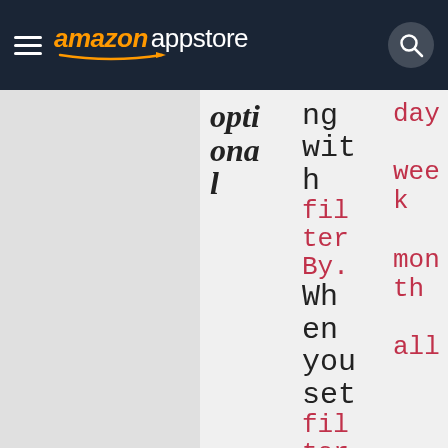amazon appstore
optional
ng with filterBy. When you set filterBy=upcoming,
day week month all